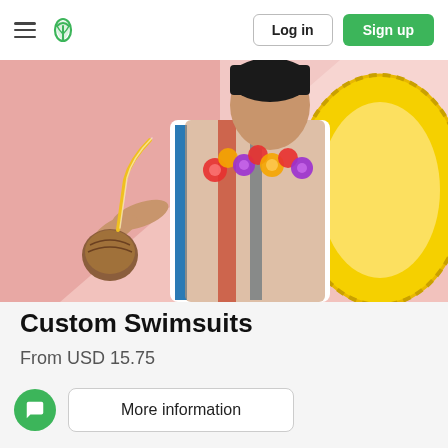≡ [logo] | Log in | Sign up
[Figure (photo): Woman in a colorful striped swimsuit wearing a floral lei, holding a coconut drink with a straw, next to a yellow inflatable float, on a pink geometric background.]
Custom Swimsuits
From USD 15.75
More information